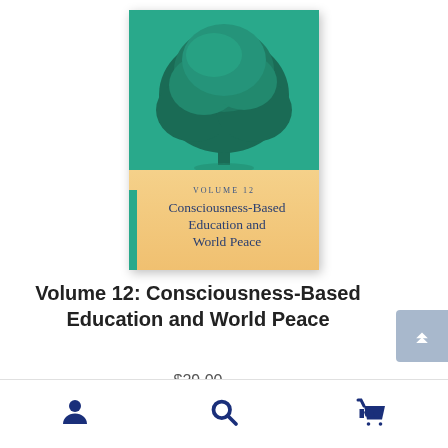[Figure (illustration): Book cover for 'Volume 12: Consciousness-Based Education and World Peace'. Top half has teal/green background with a large green tree illustration. Bottom half has a warm peach/tan gradient background with text 'VOLUME 12' in small caps and 'Consciousness-Based Education and World Peace' in serif font. A thin green stripe runs along the left edge of the lower half.]
Volume 12: Consciousness-Based Education and World Peace
$29.00